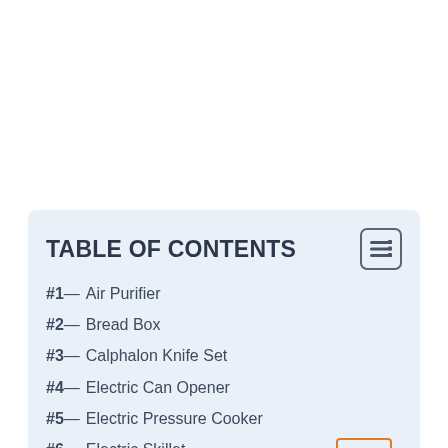TABLE OF CONTENTS
#1— Air Purifier
#2— Bread Box
#3— Calphalon Knife Set
#4— Electric Can Opener
#5— Electric Pressure Cooker
#6— Electric Skillet
#7— Food Scale